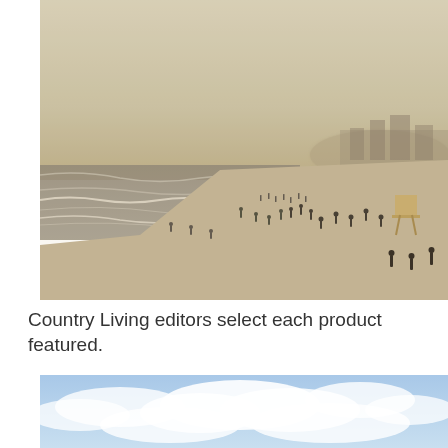[Figure (photo): A sepia-toned/muted beach scene showing a crowded shoreline with many people on the sand and in the water. Waves are visible on the left, and buildings are visible in the misty background on the right. A lifeguard tower is visible on the right side.]
Country Living editors select each product featured.
[Figure (photo): A photo showing a blue sky with white clouds, partially cropped at the bottom of the page.]